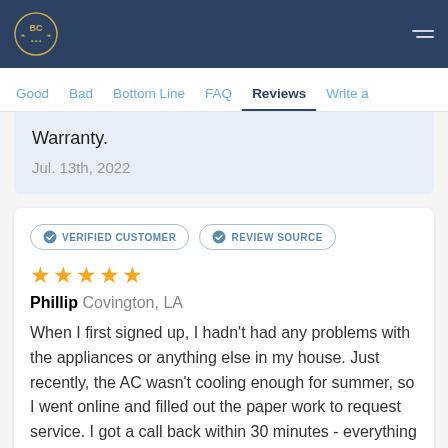BC logo navigation bar
Good  Bad  Bottom Line  FAQ  Reviews  Write a
Warranty.
Jul. 13th, 2022
VERIFIED CUSTOMER  REVIEW SOURCE
★★★★★
Phillip  Covington, LA
When I first signed up, I hadn't had any problems with the appliances or anything else in my house. Just recently, the AC wasn't cooling enough for summer, so I went online and filled out the paper work to request service. I got a call back within 30 minutes - everything was just handled so well. The response